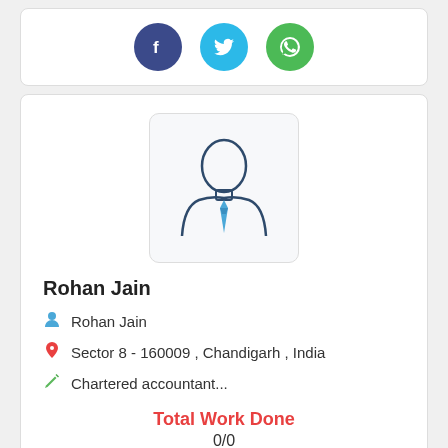[Figure (other): Social media share buttons: Facebook (dark blue circle with 'f'), Twitter (light blue circle with bird icon), WhatsApp (green circle with phone icon)]
[Figure (illustration): Generic user/profile avatar icon: outline of a person with a blue tie, inside a rounded rectangle box]
Rohan Jain
Rohan Jain
Sector 8 - 160009 , Chandigarh , India
Chartered accountant...
Total Work Done
0/0
[Figure (other): Five empty star rating icons in gold/yellow color]